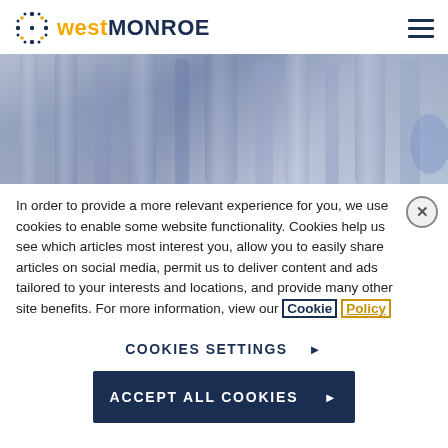[Figure (logo): West Monroe logo with dot-grid icon, 'west' in gold/yellow bold and 'MONROE' in dark navy bold]
[Figure (photo): Close-up photo of laboratory or industrial glassware/equipment in blue-gray tones]
In order to provide a more relevant experience for you, we use cookies to enable some website functionality. Cookies help us see which articles most interest you, allow you to easily share articles on social media, permit us to deliver content and ads tailored to your interests and locations, and provide many other site benefits. For more information, view our Cookie Policy
COOKIES SETTINGS ▶
ACCEPT ALL COOKIES ▶